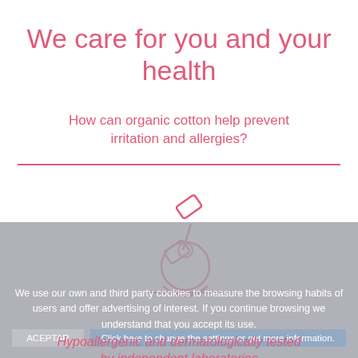We care for you and your health
How can organic cotton help prevent irritation and allergies?
[Figure (illustration): Line drawing icon of a microscope in pink/rose color, outline style]
We use our own and third party cookies to measure the browsing habits of users and offer advertising of interest. If you continue browsing we understand that you accept its use.
ACEPTAR    Click here to change the settings or get more information.
Hypoallergenic and dermatologically tested by independent laboratories